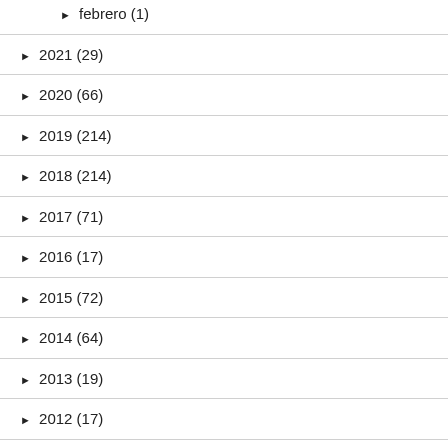► febrero (1)
► 2021 (29)
► 2020 (66)
► 2019 (214)
► 2018 (214)
► 2017 (71)
► 2016 (17)
► 2015 (72)
► 2014 (64)
► 2013 (19)
► 2012 (17)